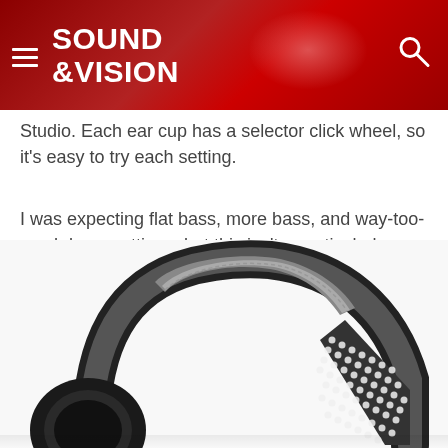SOUND &VISION
Studio. Each ear cup has a selector click wheel, so it's easy to try each setting.
I was expecting flat bass, more bass, and way-too-much bass settings, but this isn't a particularly bassy headphone. It sounded about the same and accurate with all three settings.
[Figure (photo): Close-up photo of a black over-ear headphone showing the padded headband and ear cup with a dotted/perforated pattern on the band arm, on a white background.]